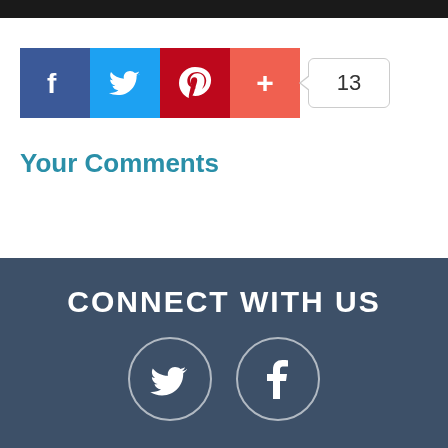[Figure (other): Social share buttons: Facebook (blue), Twitter (light blue), Pinterest (dark red), plus button (orange-red), and a share count badge showing 13]
Your Comments
CONNECT WITH US
[Figure (other): Two circular social media icons: Twitter bird and Facebook f, on dark blue-grey footer background]